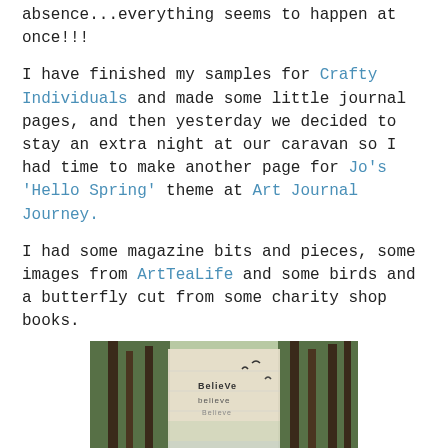absence...everything seems to happen at once!!!
I have finished my samples for Crafty Individuals and made some little journal pages, and then yesterday we decided to stay an extra night at our caravan so I had time to make another page for Jo's 'Hello Spring' theme at Art Journal Journey.
I had some magazine bits and pieces, some images from ArtTeaLife and some birds and a butterfly cut from some charity shop books.
[Figure (photo): An open art journal spread showing a nature scene with trees, birds, a butterfly, and collage elements including text stamped 'believe' repeated in different sizes, set against a bluebell forest background]